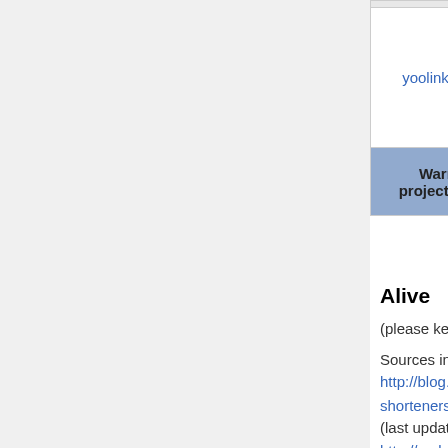| Warrior project name | Est. # shorturls | Last scraped date |
| --- | --- | --- |
| yoolink-to +/- | ? | 2015-1... 08 |
Alive
(please keep list alphabetized, and list verification dates inline)
Sources include: http://blog.go2.me/2009/01/exhausting-review-of-link-shorteners.html[IA•Wcite•.today•MemWeb] (last updated 2009-08-14), http://code.google.com/p/shortenurl/wiki/UR (Updated May 19, 2011; not fully